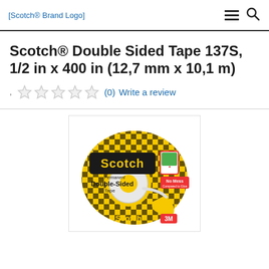Scotch® Brand Logo
Scotch® Double Sided Tape 137S, 1/2 in x 400 in (12,7 mm x 10,1 m)
(0)  Write a review
[Figure (photo): Product photo of Scotch Double-Sided Tape 137S in yellow and black tartan plaid packaging with tape dispenser]